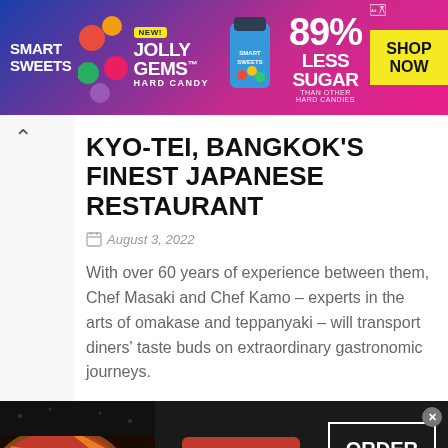[Figure (screenshot): Smart Sweets ad banner for Jolly Gems Hard Candy — 89% Less Sugar than other hard candies. Yellow 'SHOP NOW' button on right.]
KYO-TEI, BANGKOK'S FINEST JAPANESE RESTAURANT
August 3, 2022
With over 60 years of experience between them, Chef Masaki and Chef Kamo – experts in the arts of omakase and teppanyaki – will transport diners' taste buds on extraordinary gastronomic journeys.
[Figure (screenshot): Seamless food delivery ad — pizza on left, seamless logo in red badge center, 'ORDER NOW' button on right with close X button.]